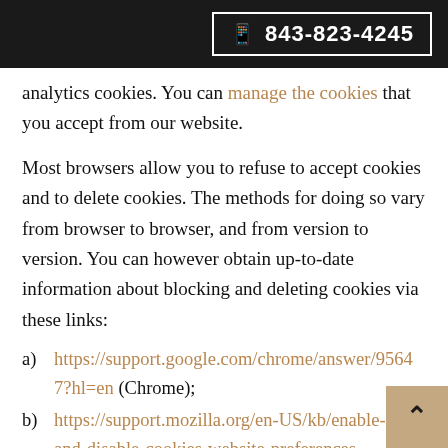843-823-4245
analytics cookies. You can manage the cookies that you accept from our website.
Most browsers allow you to refuse to accept cookies and to delete cookies. The methods for doing so vary from browser to browser, and from version to version. You can however obtain up-to-date information about blocking and deleting cookies via these links:
a) https://support.google.com/chrome/answer/95647?hl=en (Chrome);
b) https://support.mozilla.org/en-US/kb/enable-and-disable-cookies-website-preferences (Firefox);
c) http://www.opera.com/help/tutorials/security/cookies/ (Opera);